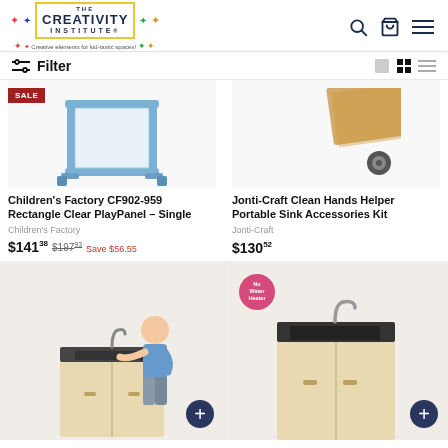The Creativity Institute — Creative elements for kid-tastic spaces!
Filter
[Figure (photo): Children's Factory CF902-959 Rectangle Clear PlayPanel - Single product image with blue frame on sale]
Children's Factory CF902-959 Rectangle Clear PlayPanel – Single
Children's Factory
$141.38  $197.93  Save $56.55
[Figure (photo): Jonti-Craft Clean Hands Helper Portable Sink Accessories Kit product image]
Jonti-Craft Clean Hands Helper Portable Sink Accessories Kit
Jonti-Craft
$130.52
[Figure (photo): Child washing hands at a small sink cabinet - product image]
[Figure (photo): Portable sink cabinet product image with No Water Heater badge]